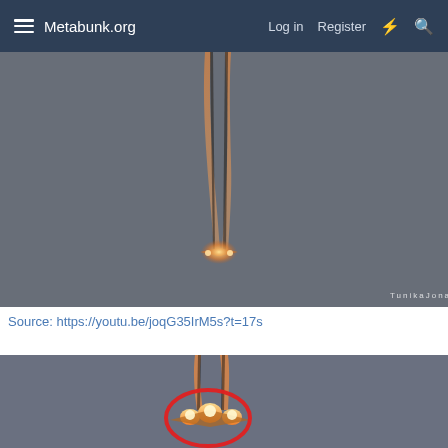Metabunk.org  Log in  Register
[Figure (photo): Aircraft viewed from below against grey sky with two bright orange/golden contrails extending upward from the aircraft. Watermark 'TunikaJonas' in bottom right corner.]
Source: https://youtu.be/joqG35IrM5s?t=17s
[Figure (photo): Close-up of aircraft engines glowing brightly with a red circle drawn around the engine area. Two contrails visible above. Grey sky background.]